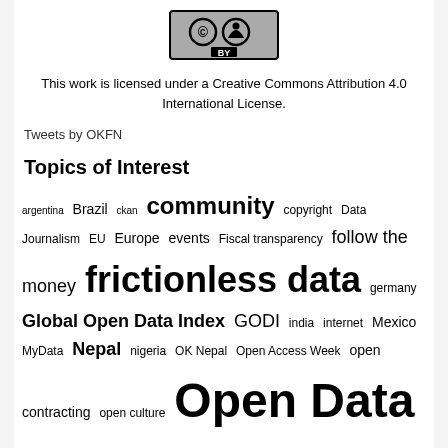[Figure (logo): Creative Commons Attribution (CC BY) logo — circle with CC symbol and person symbol, 'BY' text below, black border]
This work is licensed under a Creative Commons Attribution 4.0 International License.
Tweets by OKFN
Topics of Interest
argentina Brazil ckan community copyright Data Journalism EU Europe events Fiscal transparency follow the money frictionless data germany Global Open Data Index GODI india internet Mexico MyData Nepal nigeria OK Nepal Open Access Week open contracting open culture Open Data Open Data Day open data day 2018 open data day 2019 Open Data Day 2020 Open Data Day 2021 open data index Open Economics